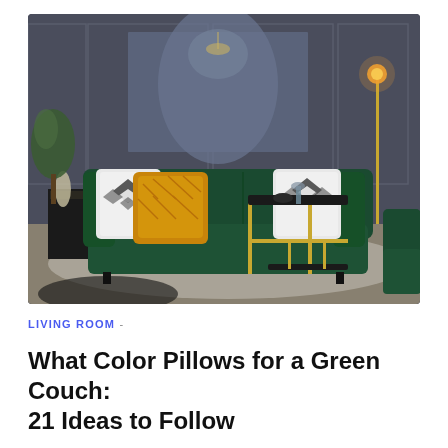[Figure (photo): A luxurious living room with a dark emerald green velvet sofa decorated with black-and-white geometric patterned pillows and a golden/mustard textured pillow. The room has dark grey panelled walls, a gold floor lamp, a small gold side table with a tray, a glass of wine, a sculpture, and a large abstract artwork on the wall.]
LIVING ROOM -
What Color Pillows for a Green Couch: 21 Ideas to Follow